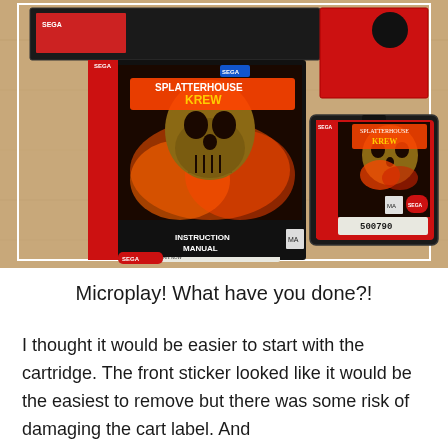[Figure (photo): Photo of Sega Genesis 'Splatterhouse Krew' game cartridge, instruction manual with red cover, and game box laid out on a wooden table surface. The cartridge has a sticker with barcode number 500790. The manual shows 'INSTRUCTION MANUAL' text on the bottom.]
Microplay! What have you done?!
I thought it would be easier to start with the cartridge. The front sticker looked like it would be the easiest to remove but there was some risk of damaging the cart label. And